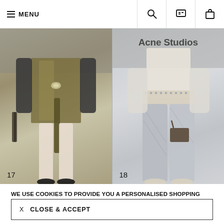≡ MENU
[Figure (photo): Fashion runway photo split into two panels. Left panel shows model wearing olive/khaki metallic dress with dark knit sleeves and accessories, numbered 17. Right panel shows model in silver metallic wide-leg trousers and cream top with studded wide belt, holding a dark bag, numbered 18. Acne Studios logo overlaid at top center.]
WE USE COOKIES TO PROVIDE YOU A PERSONALISED SHOPPING EXPERIENCE. TO FIND OUT MORE AND LEARN HOW TO OPT OUT, READ OUR COOKIE POLICY
X  CLOSE & ACCEPT